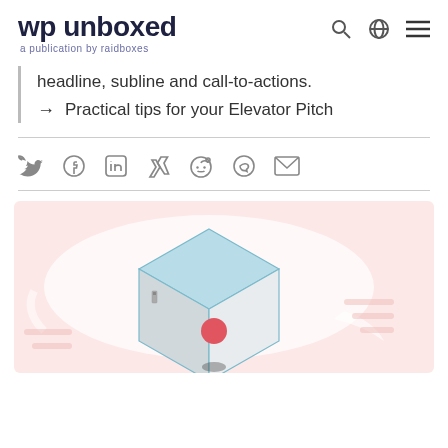wp unboxed — a publication by raidboxes
headline, subline and call-to-actions.
→ Practical tips for your Elevator Pitch
[Figure (infographic): Social share icons: Twitter, Facebook, LinkedIn, Xing, Reddit, WhatsApp, Email]
[Figure (illustration): An isometric elevator box illustration on a pink background with a white speech bubble shape behind it. The elevator has light blue walls, a red button on the wall, and a small figure shadow on the floor.]